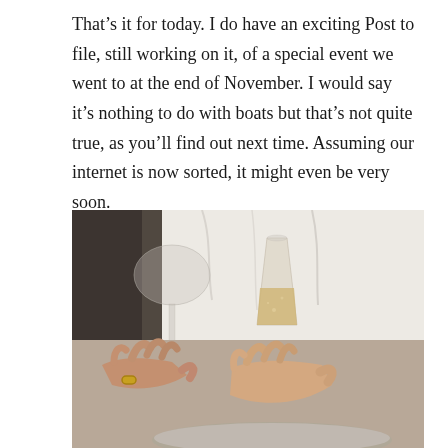That’s it for today. I do have an exciting Post to file, still working on it, of a special event we went to at the end of November. I would say it’s nothing to do with boats but that’s not quite true, as you’ll find out next time. Assuming our internet is now sorted, it might even be very soon.
[Figure (photo): A close-up photo of two people toasting with champagne glasses. One person wears a white shirt and holds a stemless champagne flute with golden liquid. Another hand holds a wine glass on the left. There is a tray or plate visible at the bottom.]